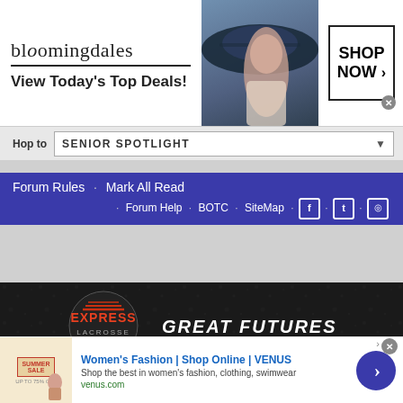[Figure (screenshot): Bloomingdales advertisement banner: logo text 'bloomingdales' with tagline 'View Today's Top Deals!', woman with wide-brim hat, and 'SHOP NOW >' button box]
Hop to   SENIOR SPOTLIGHT
Forum Rules · Mark All Read
· Forum Help · BOTC · SiteMap · [Facebook] · [Twitter] · [Instagram]
[Figure (screenshot): Express Lacrosse banner advertisement: 'GREAT FUTURES START HERE' with Express Lacrosse logo on dark textured background]
[Figure (screenshot): Women's Fashion | Shop Online | VENUS advertisement: 'Shop the best in women's fashion, clothing, swimwear' with venus.com URL, Summer Sale thumbnail, and blue arrow button]